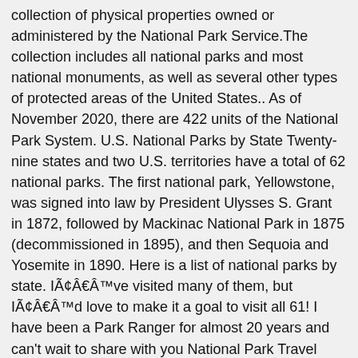collection of physical properties owned or administered by the National Park Service.The collection includes all national parks and most national monuments, as well as several other types of protected areas of the United States.. As of November 2020, there are 422 units of the National Park System. U.S. National Parks by State Twenty-nine states and two U.S. territories have a total of 62 national parks. The first national park, Yellowstone, was signed into law by President Ulysses S. Grant in 1872, followed by Mackinac National Park in 1875 (decommissioned in 1895), and then Sequoia and Yosemite in 1890. Here is a list of national parks by state. IÃ¢Â€Â™ve visited many of them, but IÃ¢Â€Â™d love to make it a goal to visit all 61! I have been a Park Ranger for almost 20 years and can't wait to share with you National Park Travel Tips, Recipes, and so much more! List of National Parks in Alphabetical Order Eventually, weÃ¢Â€Â™ll put together in-depth guides for all these parks, meanwhile, here are the ones weÃ¢Â€Â™ve posted about (linked in blue). Keep track of your adventures in AmericaÃ¢Â€Â™s most